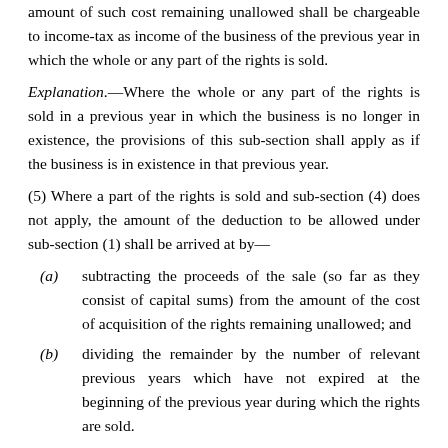amount of such cost remaining unallowed shall be chargeable to income-tax as income of the business of the previous year in which the whole or any part of the rights is sold.
Explanation.—Where the whole or any part of the rights is sold in a previous year in which the business is no longer in existence, the provisions of this sub-section shall apply as if the business is in existence in that previous year.
(5) Where a part of the rights is sold and sub-section (4) does not apply, the amount of the deduction to be allowed under sub-section (1) shall be arrived at by—
(a) subtracting the proceeds of the sale (so far as they consist of capital sums) from the amount of the cost of acquisition of the rights remaining unallowed; and
(b) dividing the remainder by the number of relevant previous years which have not expired at the beginning of the previous year during which the rights are sold.
(6) Where, in a scheme of amalgamation, the amalgamating